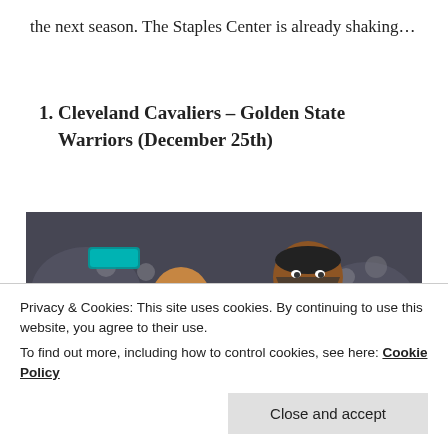the next season. The Staples Center is already shaking…
1. Cleveland Cavaliers – Golden State Warriors (December 25th)
[Figure (photo): Two NBA players on the court — one in a Golden State Warriors blue jersey (#30) and one in a Cleveland Cavaliers maroon jersey (#23, Cavaliers), with a crowd in the background.]
Privacy & Cookies: This site uses cookies. By continuing to use this website, you agree to their use.
To find out more, including how to control cookies, see here: Cookie Policy
Close and accept